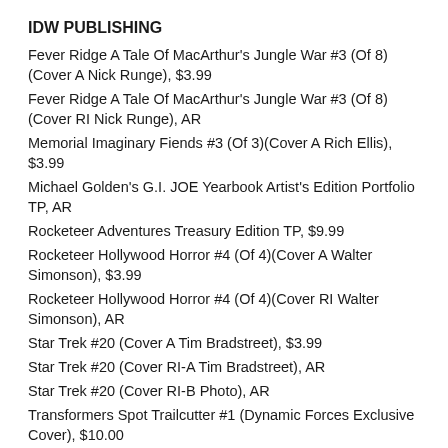IDW PUBLISHING
Fever Ridge A Tale Of MacArthur's Jungle War #3 (Of 8) (Cover A Nick Runge), $3.99
Fever Ridge A Tale Of MacArthur's Jungle War #3 (Of 8) (Cover RI Nick Runge), AR
Memorial Imaginary Fiends #3 (Of 3)(Cover A Rich Ellis), $3.99
Michael Golden's G.I. JOE Yearbook Artist's Edition Portfolio TP, AR
Rocketeer Adventures Treasury Edition TP, $9.99
Rocketeer Hollywood Horror #4 (Of 4)(Cover A Walter Simonson), $3.99
Rocketeer Hollywood Horror #4 (Of 4)(Cover RI Walter Simonson), AR
Star Trek #20 (Cover A Tim Bradstreet), $3.99
Star Trek #20 (Cover RI-A Tim Bradstreet), AR
Star Trek #20 (Cover RI-B Photo), AR
Transformers Spot Trailcutter #1 (Dynamic Forces Exclusive Cover), $10.00